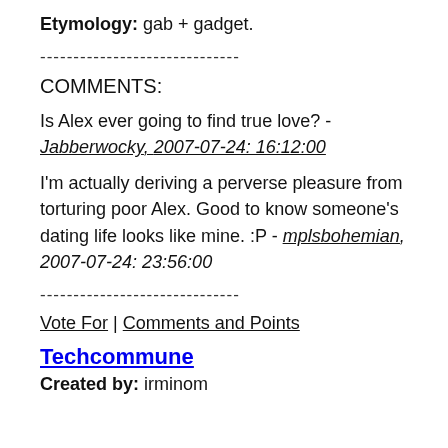Etymology: gab + gadget.
-----------------------------
COMMENTS:
Is Alex ever going to find true love? - Jabberwocky, 2007-07-24: 16:12:00
I'm actually deriving a perverse pleasure from torturing poor Alex. Good to know someone's dating life looks like mine. :P - mplsbohemian, 2007-07-24: 23:56:00
-----------------------------
Vote For | Comments and Points
Techcommune
Created by: irminom